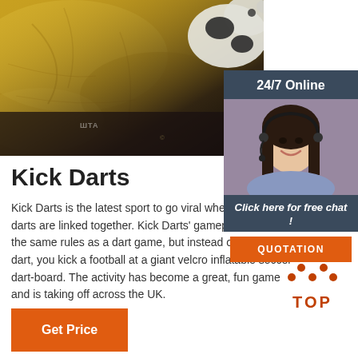[Figure (photo): Yellow/golden tarp or inflatable surface with a cow or animal graphic in the upper right corner, dark shadowed edges suggesting an inflatable item or bouncy castle]
[Figure (infographic): 24/7 Online chat widget with a female customer service agent wearing a headset, with 'Click here for free chat!' text and an orange QUOTATION button]
Kick Darts
Kick Darts is the latest sport to go viral where football and darts are linked together. Kick Darts' gameplay is to play the same rules as a dart game, but instead of throwing a dart, you kick a football at a giant velcro inflatable soccer dart-board. The activity has become a great, fun game and is taking off across the UK.
[Figure (infographic): Orange TOP button with upward arrow dots icon above text reading TOP]
Get Price